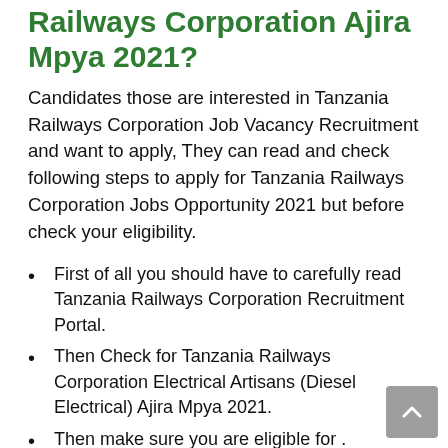Railways Corporation Ajira Mpya 2021?
Candidates those are interested in Tanzania Railways Corporation Job Vacancy Recruitment and want to apply, They can read and check following steps to apply for Tanzania Railways Corporation Jobs Opportunity 2021 but before check your eligibility.
First of all you should have to carefully read Tanzania Railways Corporation Recruitment Portal.
Then Check for Tanzania Railways Corporation Electrical Artisans (Diesel Electrical) Ajira Mpya 2021.
Then make sure you are eligible for .
Then check all the documents required.